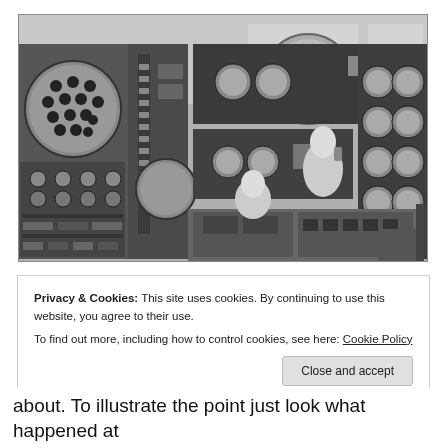[Figure (photo): Black and white photograph of a nuclear or industrial control room with a curved panel full of gauges, dials, switches, and instruments. Two workers in white lab coats are seated/standing at a central console.]
Privacy & Cookies: This site uses cookies. By continuing to use this website, you agree to their use.
To find out more, including how to control cookies, see here: Cookie Policy
Close and accept
about. To illustrate the point just look what happened at